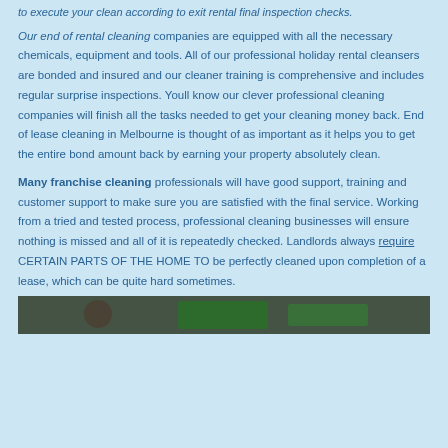to execute your clean according to exit rental final inspection checks.
Our end of rental cleaning companies are equipped with all the necessary chemicals, equipment and tools. All of our professional holiday rental cleansers are bonded and insured and our cleaner training is comprehensive and includes regular surprise inspections. Youll know our clever professional cleaning companies will finish all the tasks needed to get your cleaning money back. End of lease cleaning in Melbourne is thought of as important as it helps you to get the entire bond amount back by earning your property absolutely clean.
Many franchise cleaning professionals will have good support, training and customer support to make sure you are satisfied with the final service. Working from a tried and tested process, professional cleaning businesses will ensure nothing is missed and all of it is repeatedly checked. Landlords always require CERTAIN PARTS OF THE HOME TO be perfectly cleaned upon completion of a lease, which can be quite hard sometimes.
[Figure (photo): Partial view of a photo showing people, partially cropped at the bottom of the page]